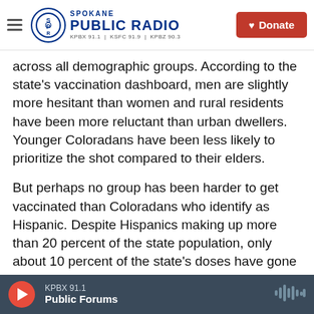Spokane Public Radio — KPBX 91.1 | KSFC 91.9 | KPBZ 90.3 | Donate
across all demographic groups. According to the state's vaccination dashboard, men are slightly more hesitant than women and rural residents have been more reluctant than urban dwellers. Younger Coloradans have been less likely to prioritize the shot compared to their elders.
But perhaps no group has been harder to get vaccinated than Coloradans who identify as Hispanic. Despite Hispanics making up more than 20 percent of the state population, only about 10 percent of the state's doses have gone to Hispanic residents, according to the state's vaccination
KPBX 91.1 — Public Forums